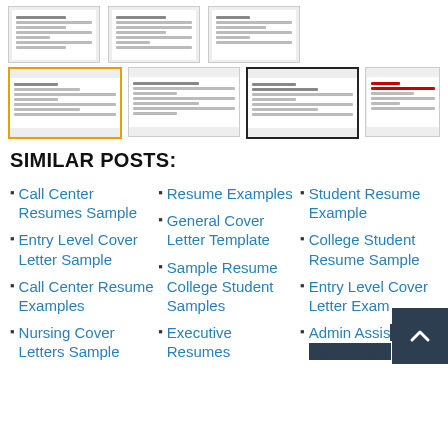[Figure (screenshot): Row of three resume thumbnail previews with light gray borders]
[Figure (screenshot): Row of four resume thumbnail previews — first has orange border, third has black border]
SIMILAR POSTS:
Call Center Resumes Sample
Entry Level Cover Letter Sample
Call Center Resume Examples
Nursing Cover Letters Sample
Resume Examples
General Cover Letter Template
Sample Resume College Student Samples
Executive Resumes
Student Resume Example
College Student Resume Sample
Entry Level Cover Letter Example
Admin Assistant Cover Letter